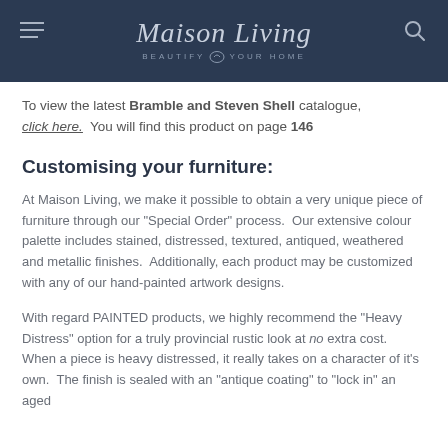Maison Living — BEAUTIFY YOUR HOME
To view the latest Bramble and Steven Shell catalogue, click here. You will find this product on page 146
Customising your furniture:
At Maison Living, we make it possible to obtain a very unique piece of furniture through our "Special Order" process. Our extensive colour palette includes stained, distressed, textured, antiqued, weathered and metallic finishes. Additionally, each product may be customized with any of our hand-painted artwork designs.
With regard PAINTED products, we highly recommend the "Heavy Distress" option for a truly provincial rustic look at no extra cost. When a piece is heavy distressed, it really takes on a character of it's own. The finish is sealed with an "antique coating" to "lock in" an aged